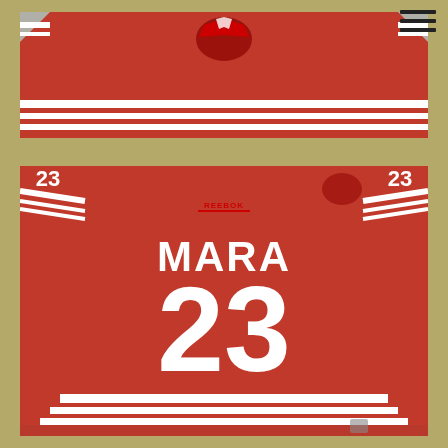[Figure (photo): Top portion of a red hockey jersey (front view) showing the chest area with white stripe details and a coyotes logo visible at the top center. The jersey is displayed on a tan/khaki background.]
[Figure (photo): Back view of a red hockey jersey with white lettering 'MARA' and number '23' in large white numerals. The jersey has white stripe accents on the sleeves and hem, an Reebok logo on the chest, and is displayed on a tan/khaki background.]